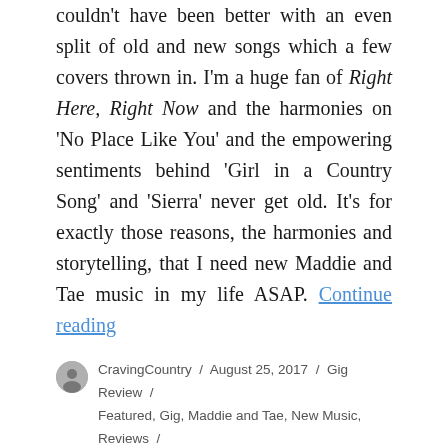couldn't have been better with an even split of old and new songs which a few covers thrown in. I'm a huge fan of Right Here, Right Now and the harmonies on 'No Place Like You' and the empowering sentiments behind 'Girl in a Country Song' and 'Sierra' never get old. It's for exactly those reasons, the harmonies and storytelling, that I need new Maddie and Tae music in my life ASAP. Continue reading
CravingCountry / August 25, 2017 / Gig Review / Featured, Gig, Maddie and Tae, New Music, Reviews / Leave a comment
Kris Kristofferson's